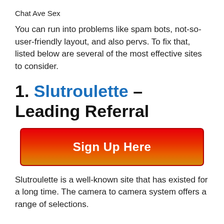Chat Ave Sex
You can run into problems like spam bots, not-so-user-friendly layout, and also pervs. To fix that, listed below are several of the most effective sites to consider.
1. Slutroulette – Leading Referral
[Figure (other): Red and orange gradient Sign Up Here button with dark red border]
Slutroulette is a well-known site that has existed for a long time. The camera to camera system offers a range of selections.